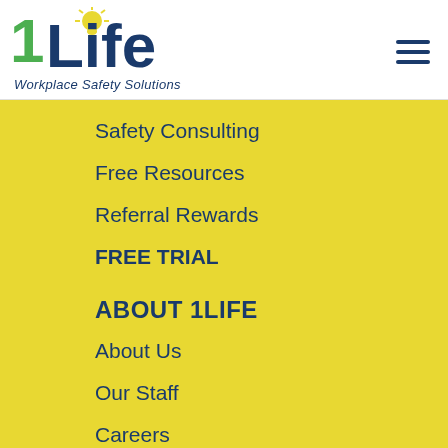[Figure (logo): 1Life Workplace Safety Solutions logo with green '1', dark blue 'Life' text and light bulb icon above the 'i', and italic tagline 'Workplace Safety Solutions']
Safety Consulting
Free Resources
Referral Rewards
FREE TRIAL
ABOUT 1LIFE
About Us
Our Staff
Careers
Blog